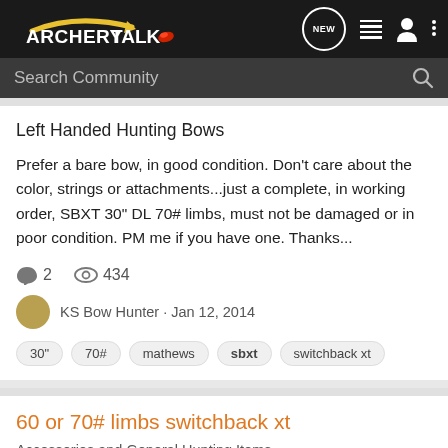ArcheryTalk - Search Community
Left Handed Hunting Bows
Prefer a bare bow, in good condition. Don't care about the color, strings or attachments...just a complete, in working order, SBXT 30" DL 70# limbs, must not be damaged or in poor condition. PM me if you have one. Thanks...
2 comments · 434 views · KS Bow Hunter · Jan 12, 2014
Tags: 30" 70# mathews sbxt switchback xt
60 or 70# limbs switchback xt
Accessories and General Hunting Items
Looking to buy replacement limbs for sb xt. Busted mine